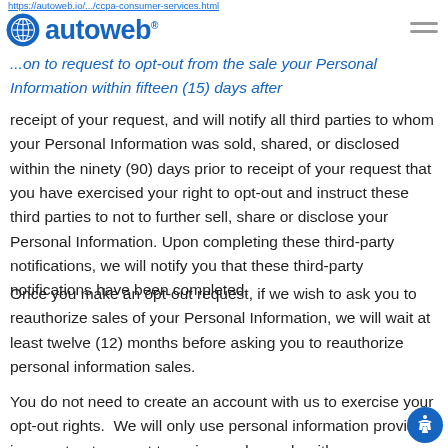https://autoweb.io/.../ccpa-consumer-services.html
[Figure (logo): Autoweb logo with globe icon and blue text reading 'autoweb']
...your Personal Information within fifteen (15) days after receipt of your request, and will notify all third parties to whom your Personal Information was sold, shared, or disclosed within the ninety (90) days prior to receipt of your request that you have exercised your right to opt-out and instruct these third parties to not to further sell, share or disclose your Personal Information. Upon completing these third-party notifications, we will notify you that these third-party notifications have been completed.
Once you make an opt-out request, if we wish to ask you to reauthorize sales of your Personal Information, we will wait at least twelve (12) months before asking you to reauthorize personal information sales.
You do not need to create an account with us to exercise your opt-out rights. We will only use personal information provided in an opt-out request to review and comply with